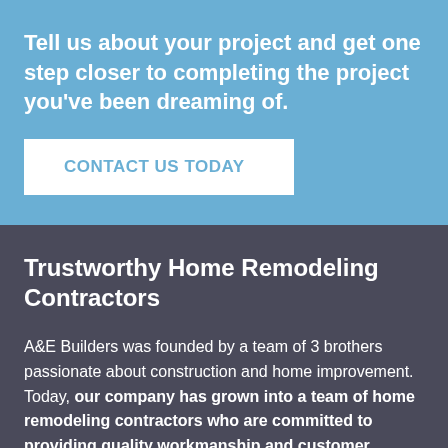Tell us about your project and get one step closer to completing the project you've been dreaming of.
CONTACT US TODAY
Trustworthy Home Remodeling Contractors
A&E Builders was founded by a team of 3 brothers passionate about construction and home improvement. Today, our company has grown into a team of home remodeling contractors who are committed to providing quality workmanship and customer